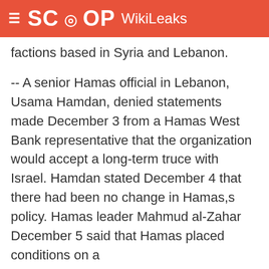SCOOP WikiLeaks
factions based in Syria and Lebanon.
-- A senior Hamas official in Lebanon, Usama Hamdan, denied statements made December 3 from a Hamas West Bank representative that the organization would accept a long-term truce with Israel. Hamdan stated December 4 that there had been no change in Hamas,s policy. Hamas leader Mahmud al-Zahar December 5 said that Hamas placed conditions on a